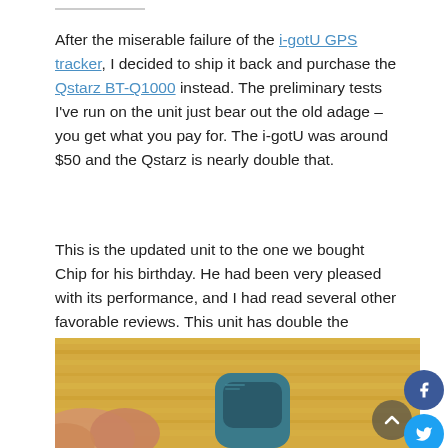After the miserable failure of the i-gotU GPS tracker, I decided to ship it back and purchase the Qstarz BT-Q1000 instead. The preliminary tests I've run on the unit just bear out the old adage – you get what you pay for. The i-gotU was around $50 and the Qstarz is nearly double that.
This is the updated unit to the one we bought Chip for his birthday. He had been very pleased with its performance, and I had read several other favorable reviews. This unit has double the memory capacity, but otherwise functions pretty much the same way and has the same features.
[Figure (photo): A hand holding a small blue Qstarz BT-Q1000 GPS tracker device on a wooden surface background]